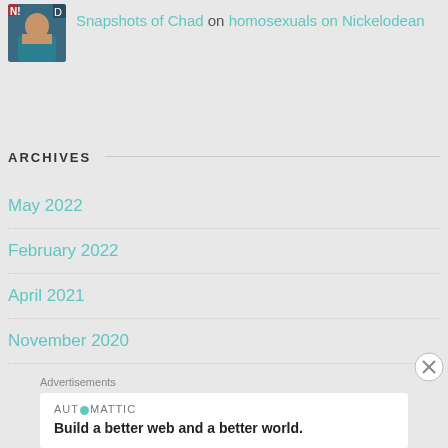Snapshots of Chad on homosexuals on Nickelodean
ARCHIVES
May 2022
February 2022
April 2021
November 2020
Advertisements
[Figure (other): Automattic advertisement: AUT⊙MATTIC logo and tagline 'Build a better web and a better world.']